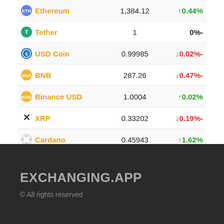| Coin | Price | Change |
| --- | --- | --- |
| Ethereum (partial) | 1,xxx.xx | ↑0.xx% |
| Tether | 1 | 0%- |
| USD Coin | 0.99985 | ↓0.02%- |
| BNB | 287.26 | ↓0.47%- |
| Binance USD | 1.0004 | ↑0.02% |
| XRP | 0.33202 | ↓0.19%- |
| Cardano | 0.45943 | ↑1.62% |
| Solana | 32.455 | ↓0.64%- |
| Dogecoin | 0.062872 | ↓1.6%- |
EXCHANGING.APP
© All rights reserved